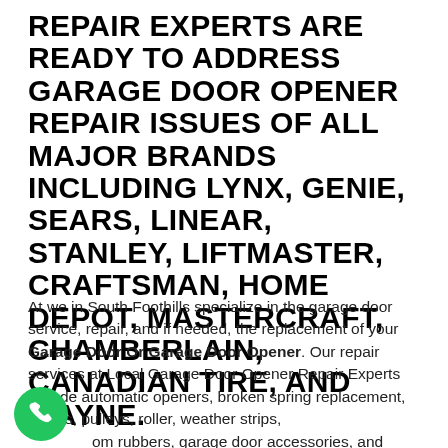REPAIR EXPERTS ARE READY TO ADDRESS GARAGE DOOR OPENER REPAIR ISSUES OF ALL MAJOR BRANDS INCLUDING LYNX, GENIE, SEARS, LINEAR, STANLEY, LIFTMASTER, CRAFTSMAN, HOME DEPOT, MASTERCRAFT, CHAMBERLAIN, CANADIAN TIRE, AND WAYNE.
At we in South Foothills specialize in the garage door service, repair, and if needed, the replacement of your Garage Door Or Garage Door Opener. Our repair services at Local Garage Door Opener Repair Experts include automatic openers, broken spring replacement, cables, pulleys, roller, weather strips, om rubbers, garage door accessories, and more. South Foothills we can work with all the leading